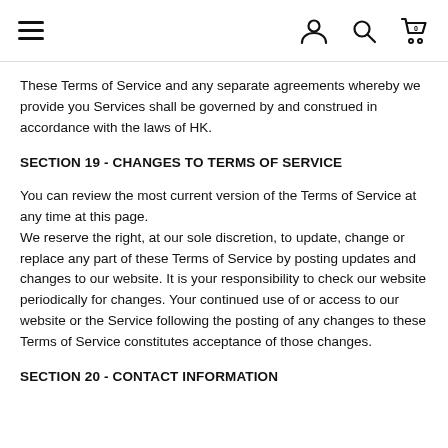≡ [user icon] [search icon] [cart icon 0]
These Terms of Service and any separate agreements whereby we provide you Services shall be governed by and construed in accordance with the laws of HK.
SECTION 19 - CHANGES TO TERMS OF SERVICE
You can review the most current version of the Terms of Service at any time at this page.
We reserve the right, at our sole discretion, to update, change or replace any part of these Terms of Service by posting updates and changes to our website. It is your responsibility to check our website periodically for changes. Your continued use of or access to our website or the Service following the posting of any changes to these Terms of Service constitutes acceptance of those changes.
SECTION 20 - CONTACT INFORMATION